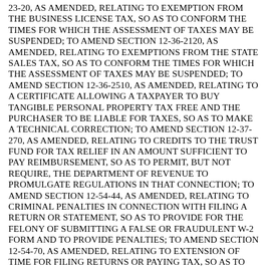23-20, AS AMENDED, RELATING TO EXEMPTION FROM THE BUSINESS LICENSE TAX, SO AS TO CONFORM THE TIMES FOR WHICH THE ASSESSMENT OF TAXES MAY BE SUSPENDED; TO AMEND SECTION 12-36-2120, AS AMENDED, RELATING TO EXEMPTIONS FROM THE STATE SALES TAX, SO AS TO CONFORM THE TIMES FOR WHICH THE ASSESSMENT OF TAXES MAY BE SUSPENDED; TO AMEND SECTION 12-36-2510, AS AMENDED, RELATING TO A CERTIFICATE ALLOWING A TAXPAYER TO BUY TANGIBLE PERSONAL PROPERTY TAX FREE AND THE PURCHASER TO BE LIABLE FOR TAXES, SO AS TO MAKE A TECHNICAL CORRECTION; TO AMEND SECTION 12-37-270, AS AMENDED, RELATING TO CREDITS TO THE TRUST FUND FOR TAX RELIEF IN AN AMOUNT SUFFICIENT TO PAY REIMBURSEMENT, SO AS TO PERMIT, BUT NOT REQUIRE, THE DEPARTMENT OF REVENUE TO PROMULGATE REGULATIONS IN THAT CONNECTION; TO AMEND SECTION 12-54-44, AS AMENDED, RELATING TO CRIMINAL PENALTIES IN CONNECTION WITH FILING A RETURN OR STATEMENT, SO AS TO PROVIDE FOR THE FELONY OF SUBMITTING A FALSE OR FRAUDULENT W-2 FORM AND TO PROVIDE PENALTIES; TO AMEND SECTION 12-54-70, AS AMENDED, RELATING TO EXTENSION OF TIME FOR FILING RETURNS OR PAYING TAX, SO AS TO PROVIDE FOR AN EXTENSION OF TIME NOT TO EXCEED SIX MONTHS AND TO DELETE THE REQUIREMENT THAT